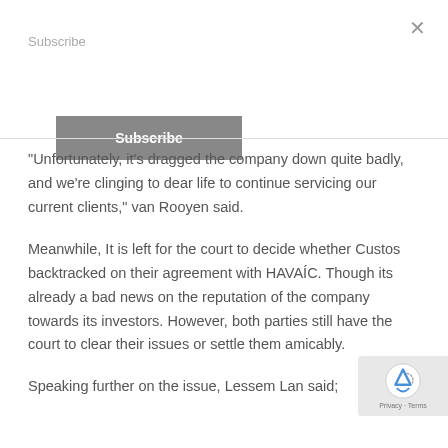Subscribe
Subscribe (button)
“Unfortunately, it’s dragged the company down quite badly, and we’re clinging to dear life to continue servicing our current clients,” van Rooyen said.
Meanwhile, It is left for the court to decide whether Custos backtracked on their agreement with HAVAÍC. Though its already a bad news on the reputation of the company towards its investors. However, both parties still have the court to clear their issues or settle them amicably.
Speaking further on the issue, Lessem Lan said;